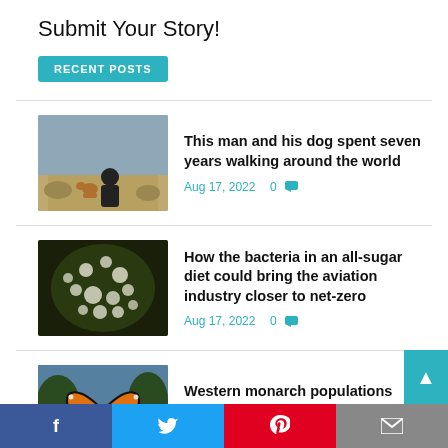Submit Your Story!
RECENT POSTS
This man and his dog spent seven years walking around the world — Aug 17, 2022  0
How the bacteria in an all-sugar diet could bring the aviation industry closer to net-zero — Aug 17, 2022  0
Western monarch populations grew over 100-fold in 2021 — Aug 17, 2022  0